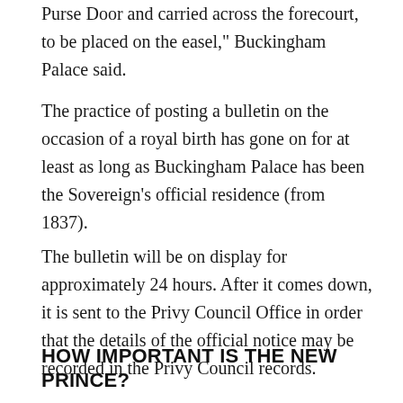Purse Door and carried across the forecourt, to be placed on the easel," Buckingham Palace said.
The practice of posting a bulletin on the occasion of a royal birth has gone on for at least as long as Buckingham Palace has been the Sovereign's official residence (from 1837).
The bulletin will be on display for approximately 24 hours. After it comes down, it is sent to the Privy Council Office in order that the details of the official notice may be recorded in the Privy Council records.
HOW IMPORTANT IS THE NEW PRINCE?